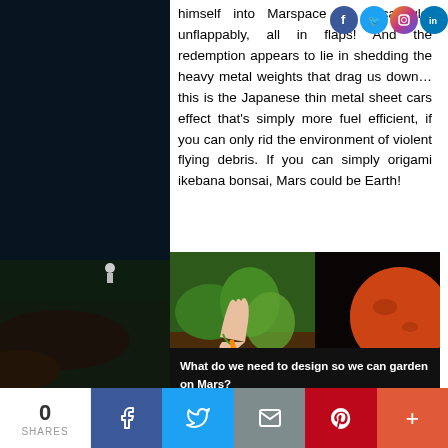himself into Marspace in a capsule, unflappably, all in flaps! And the redemption appears to lie in shedding the heavy metal weights that drag us down…this is the Japanese thin metal sheet cars effect that's simply more fuel efficient, if you can only rid the environment of violent flying debris. If you can simply origami ikebana bonsai, Mars could be Earth!
[Figure (photo): Embedded image showing a hand pulling a carrot from soil on the left, with a dashed arrow pointing to Mars planet on the right. Caption reads: What do we need to design so we can garden on Mars?]
0 SHARES